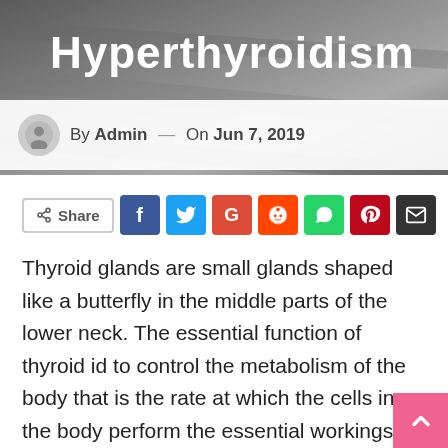[Figure (photo): Hero banner image with dark cloth/fabric background, partially showing text 'Hyperthyroidism' at top in white bold font]
By Admin — On Jun 7, 2019
[Figure (infographic): Social share buttons row: Share button outline, followed by colored icon buttons for Facebook, Twitter, Google+, Reddit, WhatsApp, Pinterest, Email]
Thyroid glands are small glands shaped like a butterfly in the middle parts of the lower neck. The essential function of thyroid id to control the metabolism of the body that is the rate at which the cells in the body perform the essential workings. T4 and T3 are the hormones produced by the thyroid that informs the body cells about how much energy they need to use. The thyroid needs to maintain the right amount of hormones to ensure the body's metabolism at satisfactory rates.